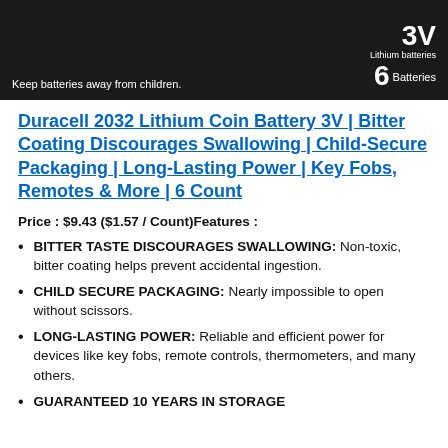[Figure (photo): Dark background product image of Duracell 2032 battery packaging showing '3V Lithium batteries 6 Batteries' text and a warning: 'Keep batteries away from children.']
Duracell 2032 Lithium Coin Battery 3V | Bitter Coating Discourages Swallowing | Child-Secure Packaging | Long-Lasting Power | Key Fobs, Remotes & More | 6 Count
Price : $9.43 ($1.57 / Count)Features :
BITTER TASTE DISCOURAGES SWALLOWING: Non-toxic, bitter coating helps prevent accidental ingestion.
CHILD SECURE PACKAGING: Nearly impossible to open without scissors.
LONG-LASTING POWER: Reliable and efficient power for devices like key fobs, remote controls, thermometers, and many others.
GUARANTEED 10 YEARS IN STORAGE